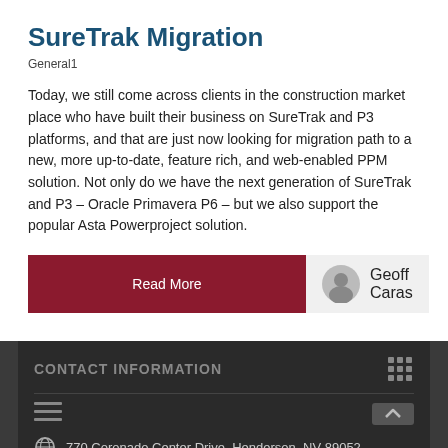SureTrak Migration
General1
Today, we still come across clients in the construction market place who have built their business on SureTrak and P3 platforms, and that are just now looking for migration path to a new, more up-to-date, feature rich, and web-enabled PPM solution. Not only do we have the next generation of SureTrak and P3 – Oracle Primavera P6 – but we also support the popular Asta Powerproject solution.
Read More
Geoff Caras
CONTACT INFORMATION
770 Coronado Center Drive, Henderson, NV 89052